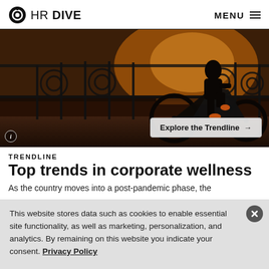HR DIVE  MENU
[Figure (photo): Silhouette of a person riding a bicycle on a bridge with ornate iron railings at sunset, with warm orange glow background. An 'Explore the Trendline →' button overlaid at bottom right.]
TRENDLINE
Top trends in corporate wellness
As the country moves into a post-pandemic phase, the
This website stores data such as cookies to enable essential site functionality, as well as marketing, personalization, and analytics. By remaining on this website you indicate your consent. Privacy Policy